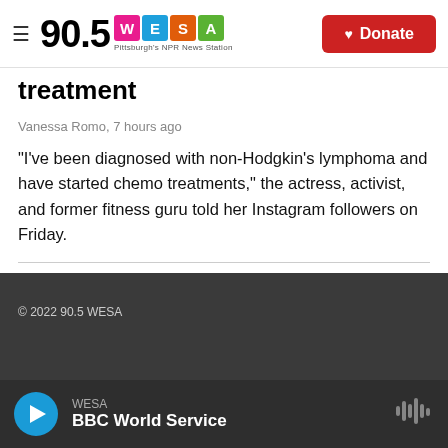[Figure (logo): 90.5 WESA Pittsburgh's NPR News Station logo with colored letter tiles and a red Donate button]
treatment
Vanessa Romo, 7 hours ago
"I've been diagnosed with non-Hodgkin's lymphoma and have started chemo treatments," the actress, activist, and former fitness guru told her Instagram followers on Friday.
Load More
© 2022 90.5 WESA
WESA BBC World Service